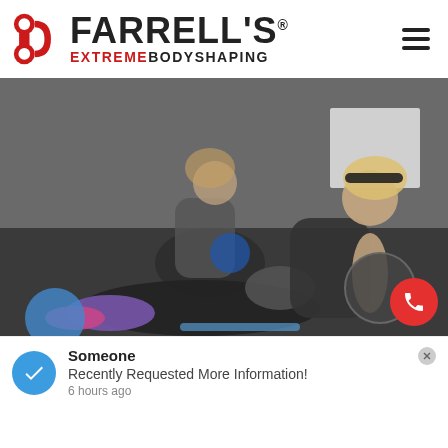[Figure (logo): Farrell's Extreme Bodyshaping logo with red dumbbell/infinity icon on the left and brand name text on the right, with hamburger menu icon on far right]
[Figure (photo): Two women in a gym doing ab exercises with medicine balls on a dark floor. The foreground woman wears a black tank top, black leggings, and colorful sneakers; the background woman sits on the floor. A blue stability ball is visible in the lower left.]
Someone
Recently Requested More Information!
6 hours ago